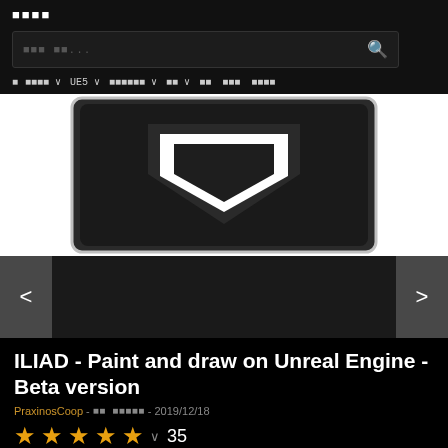■■■■
■■■ ■■...
■ ■■■■ ∨  UE5 ∨  ■■■■■■ ∨  ■■ ∨  ■■  ■■■  ■■■■
[Figure (screenshot): Dark Unreal Engine logo with white downward chevron/diamond shape on white background]
[Figure (screenshot): Carousel strip with left and right navigation arrows and dark content area]
ILIAD - Paint and draw on Unreal Engine - Beta version
PraxinosCoop - ■■ ■■■■■ - 2019/12/18
★★★★★ ∨ 35